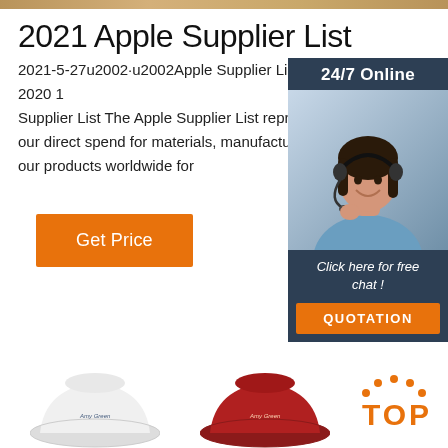[Figure (other): Decorative tan/gold gradient horizontal banner strip at the top of the page]
2021 Apple Supplier List
2021-5-27u2002·u2002Apple Supplier List Fiscal Year 2020 1 Supplier List The Apple Supplier List represents 98 p our direct spend for materials, manufacturing, and a our products worldwide for
[Figure (other): Chat widget with dark blue background showing '24/7 Online' header, a photo of a woman with headset smiling, text 'Click here for free chat!' and an orange QUOTATION button]
[Figure (other): Orange 'Get Price' button]
[Figure (other): White bucket hat product photo at bottom left]
[Figure (other): Red bucket hat product photo at bottom center]
[Figure (other): Orange TOP badge with dotted arch above the letters at bottom right]